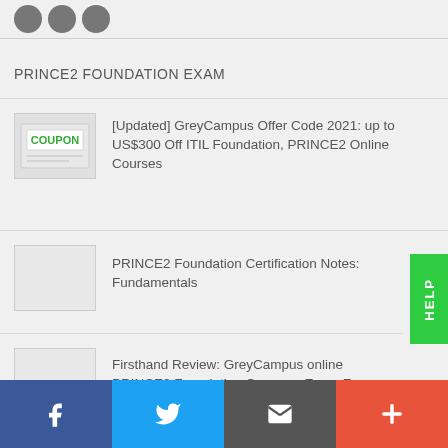[Figure (other): Three social media circles/icons at top left]
PRINCE2 FOUNDATION EXAM
[Figure (illustration): Coupon image with green COUPON text and lines]
[Updated] GreyCampus Offer Code 2021: up to US$300 Off ITIL Foundation, PRINCE2 Online Courses
PRINCE2 Foundation Certification Notes: Fundamentals
Firsthand Review: GreyCampus online PRINCE2 Foundation Course + Exam Fee
Facebook | Twitter | Email | More